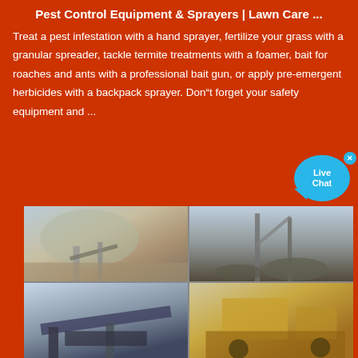Pest Control Equipment & Sprayers | Lawn Care ...
Treat a pest infestation with a hand sprayer, fertilize your grass with a granular spreader, tackle termite treatments with a foamer, bait for roaches and ants with a professional bait gun, or apply pre-emergent herbicides with a backpack sprayer. Don"t forget your safety equipment and ...
[Figure (photo): Four industrial/mining equipment photos arranged in a 2x2 grid: top-left shows a quarry/mining site with conveyor belts and dusty mountains; top-right shows large mining cranes and equipment with piles of aggregate; bottom-left shows a mobile belt conveyor system; bottom-right shows yellow heavy construction/mining machinery.]